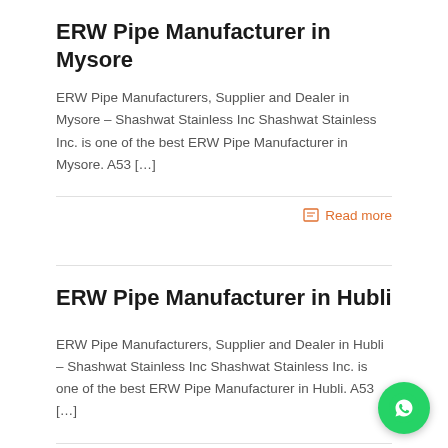ERW Pipe Manufacturer in Mysore
ERW Pipe Manufacturers, Supplier and Dealer in Mysore – Shashwat Stainless Inc Shashwat Stainless Inc. is one of the best ERW Pipe Manufacturer in Mysore. A53 […]
Read more
ERW Pipe Manufacturer in Hubli
ERW Pipe Manufacturers, Supplier and Dealer in Hubli – Shashwat Stainless Inc Shashwat Stainless Inc. is one of the best ERW Pipe Manufacturer in Hubli. A53 […]
Read more